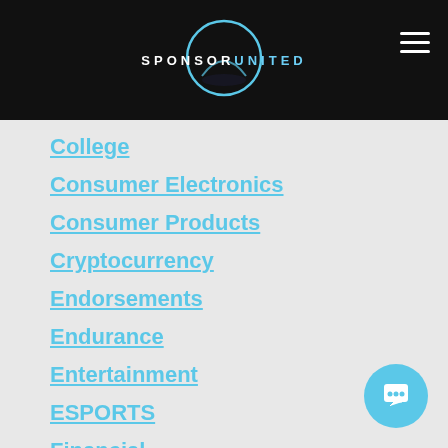SPONSOR UNITED
College
Consumer Electronics
Consumer Products
Cryptocurrency
Endorsements
Endurance
Entertainment
ESPORTS
Financial
FinTech
Fitness
Food
Golf